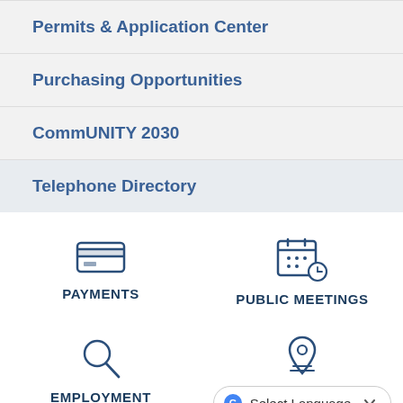Permits & Application Center
Purchasing Opportunities
CommUNITY 2030
Telephone Directory
[Figure (infographic): Payments icon (credit card) with label PAYMENTS]
[Figure (infographic): Public Meetings icon (calendar with clock) with label PUBLIC MEETINGS]
[Figure (infographic): Employment icon (magnifying glass) with label EMPLOYMENT]
[Figure (infographic): Location/map icon and Select Language dropdown button]